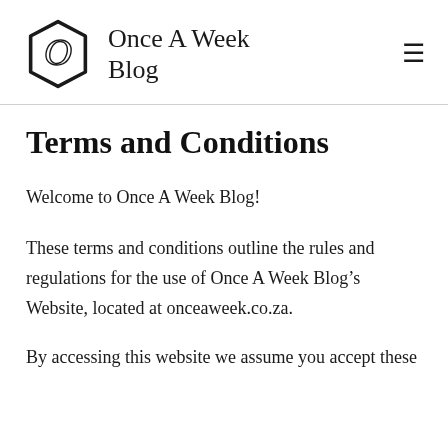Once A Week Blog
Terms and Conditions
Welcome to Once A Week Blog!
These terms and conditions outline the rules and regulations for the use of Once A Week Blog's Website, located at onceaweek.co.za.
By accessing this website we assume you accept these